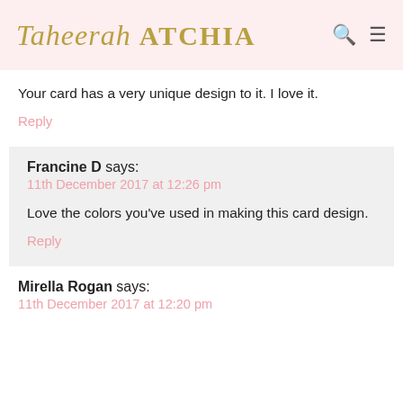Taheerah ATCHIA
Your card has a very unique design to it. I love it.
Reply
Francine D says:
11th December 2017 at 12:26 pm
Love the colors you’ve used in making this card design.
Reply
Mirella Rogan says:
11th December 2017 at 12:20 pm